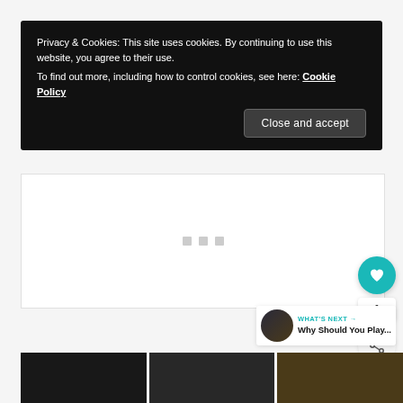Privacy & Cookies: This site uses cookies. By continuing to use this website, you agree to their use.
To find out more, including how to control cookies, see here: Cookie Policy
Close and accept
[Figure (screenshot): White content area with three small grey square dots/icons centered, representing a loading or placeholder UI area]
[Figure (infographic): Teal circular heart/like button FAB, count label showing 1, and a share icon button below]
WHAT'S NEXT → Why Should You Play...
[Figure (photo): Three dark-toned image tiles at the bottom: dark black, dark grey, and dark brown/olive colored rectangles]